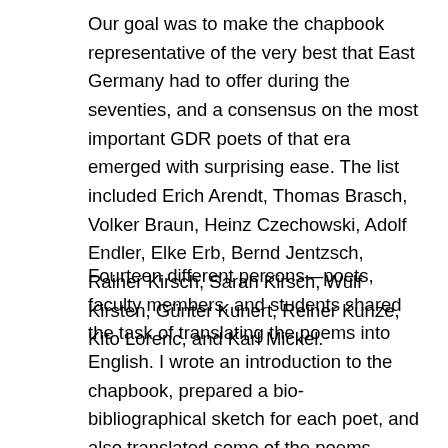Our goal was to make the chapbook representative of the very best that East Germany had to offer during the seventies, and a consensus on the most important GDR poets of that era emerged with surprising ease. The list included Erich Arendt, Thomas Brasch, Volker Braun, Heinz Czechowski, Adolf Endler, Elke Erb, Bernd Jentzsch, Rainer Kirsch, Sarah Kirsch, Wulf Kirsten, Günter Kunert, Reiner Kunze, Kito Lorenc, and Karl Mickel.
Fourteen different persons—poets, faculty members, and students shared the task of translating the poems into English. I wrote an introduction to the chapbook, prepared a bio-bibliographical sketch for each poet, and also translated some of the poems, including Elke Erb's “Sommerzeit”